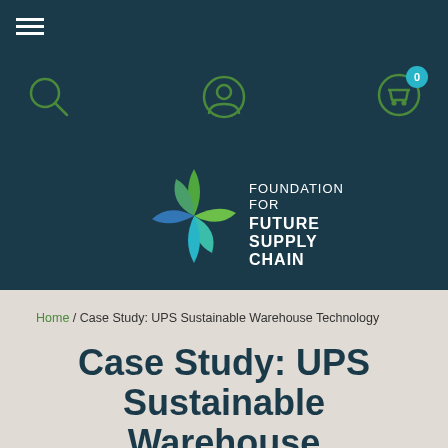[Figure (screenshot): Navigation bar with hamburger menu icon on dark teal background]
[Figure (screenshot): Icon bar with search, user/account, and cart icons on dark teal background. Cart has a '0' badge in teal circle.]
[Figure (logo): Foundation for Future Supply Chain logo - snowflake/asterisk shape in teal/green gradient with organization name text in white]
Home / Case Study: UPS Sustainable Warehouse Technology
Case Study: UPS Sustainable Warehouse